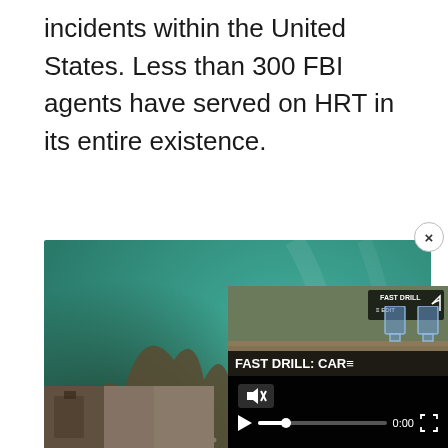incidents within the United States. Less than 300 FBI agents have served on HRT in its entire existence.
[Figure (photo): Underwater photograph showing a diver near rocky structures in green-tinted murky water, with orange fish visible.]
[Figure (screenshot): A small video player overlay showing 'FAST DRILL: CAR' with playback controls, mute icon, timestamp 0:00, and shooting range target icons on a dark background.]
[Figure (photo): Partial view of another image at the bottom of the page, showing an indoor or outdoor scene in warm brown tones.]